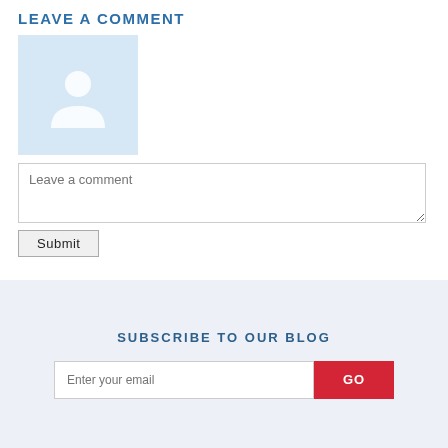LEAVE A COMMENT
[Figure (illustration): Light blue avatar placeholder image with a white silhouette of a person (head and shoulders)]
Leave a comment
Submit
SUBSCRIBE TO OUR BLOG
Enter your email
GO